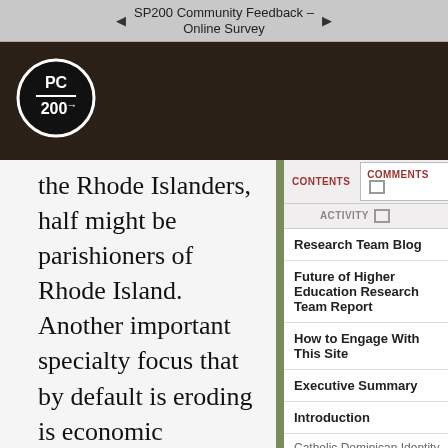SP200 Community Feedback – Online Survey
[Figure (logo): PC 200 circular logo with white text on black background]
the Rhode Islanders, half might be parishioners of Rhode Island. Another important specialty focus that by default is eroding is economic ...
CONTENTS
COMMENTS
ACTIVITY
Research Team Blog
Future of Higher Education Research Team Report
How to Engage With This Site
Executive Summary
Introduction
Catholic Dominican Identity
Culture of Diversity, Equity, and Inclusion
Student Development